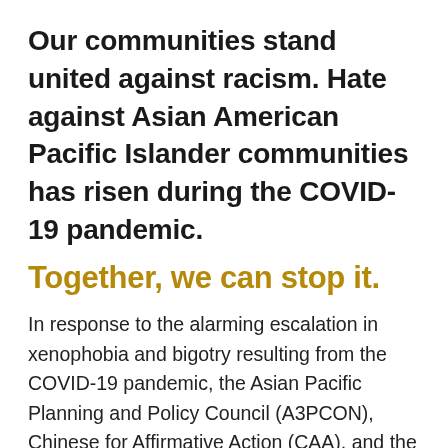Our communities stand united against racism. Hate against Asian American Pacific Islander communities has risen during the COVID-19 pandemic.
Together, we can stop it.
In response to the alarming escalation in xenophobia and bigotry resulting from the COVID-19 pandemic, the Asian Pacific Planning and Policy Council (A3PCON), Chinese for Affirmative Action (CAA), and the Asian American Studies Department of San Francisco State University